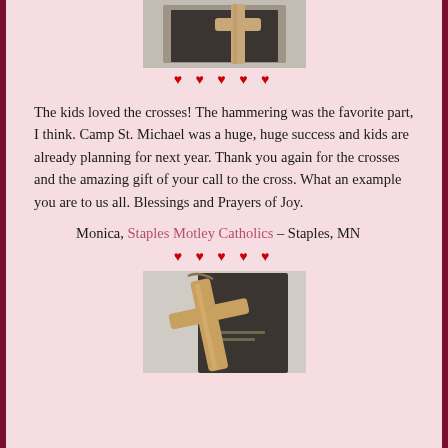[Figure (photo): Photo of a wooden cross lying on a dark book, partially cropped at top]
♥ ♥ ♥ ♥ ♥
The kids loved the crosses!  The hammering was the favorite part, I think. Camp St. Michael was a huge, huge success and kids are already planning for next year. Thank you again for the crosses and the amazing gift of your call to the cross.  What an example you are to us all. Blessings and Prayers of Joy.
Monica, Staples Motley Catholics – Staples, MN
♥ ♥ ♥ ♥ ♥
[Figure (photo): Photo of a wooden cross with a cord/string attached, resting on a dark book]